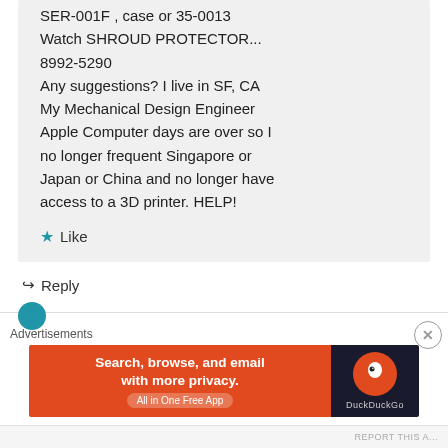SER-001F , case or 35-0013 Watch SHROUD PROTECTOR... 8992-5290 Any suggestions? I live in SF, CA My Mechanical Design Engineer Apple Computer days are over so I no longer frequent Singapore or Japan or China and no longer have access to a 3D printer. HELP!
★ Like
↪ Reply
[Figure (screenshot): DuckDuckGo advertisement banner: orange left section with text 'Search, browse, and email with more privacy. All in One Free App' and dark right section with DuckDuckGo logo and brand name. Close button (X) in top right.]